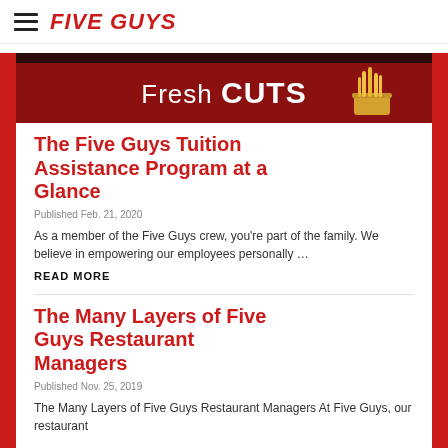FIVE GUYS
[Figure (logo): Five Guys logo with hamburger menu icon and red italic FIVE GUYS text]
[Figure (illustration): Fresh CUTS banner with dark red background and fries cup illustration on right]
The Five Guys Tuition Assistance Program at a Glance
Published Feb. 21, 2020
As a member of the Five Guys crew, you’re part of the family. We believe in empowering our employees personally …
READ MORE
The Many Layers of Five Guys Restaurant Managers
Published Nov. 25, 2019
The Many Layers of Five Guys Restaurant Managers At Five Guys, our restaurant